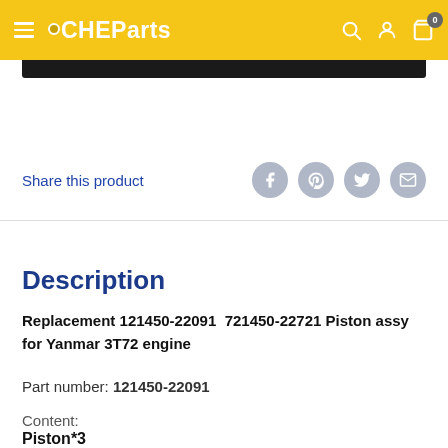CHEParts
[Figure (screenshot): Dark product image banner at top of page]
Share this product
Description
Replacement 121450-22091  721450-22721 Piston assy for Yanmar 3T72 engine
Part number: 121450-22091
Content:
Piston*3